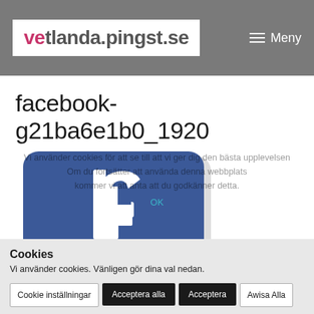vetlanda.pingst.se — Meny
facebook-g21ba6e1b0_1920
[Figure (photo): Partial Facebook logo on blue rounded-rectangle card, showing the lowercase 'f' letterform in white on blue background, slightly angled]
Cookies
Vi använder cookies för att se till att vi ger dig den bästa upplevelsen. Vi använder cookies. Vänligen gör dina val nedan. Om du fortsätter att använda denna webbplats kommer vi att anta att du godkänner detta.
Cookie inställningar
Acceptera alla
Acceptera
Awisa Alla